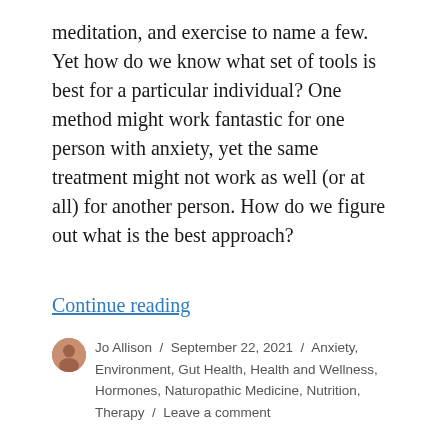meditation, and exercise to name a few. Yet how do we know what set of tools is best for a particular individual? One method might work fantastic for one person with anxiety, yet the same treatment might not work as well (or at all) for another person. How do we figure out what is the best approach?
Continue reading
Jo Allison / September 22, 2021 / Anxiety, Environment, Gut Health, Health and Wellness, Hormones, Naturopathic Medicine, Nutrition, Therapy / Leave a comment
Adapting in the Evolving